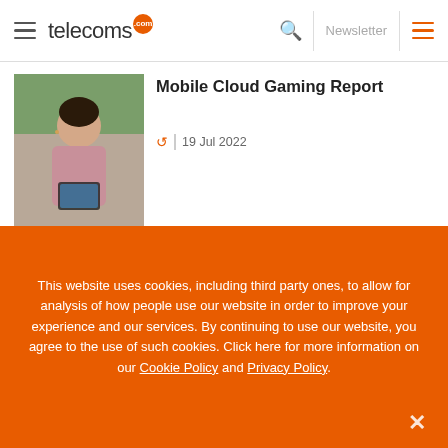telecoms.com — Newsletter
Mobile Cloud Gaming Report
19 Jul 2022
[Figure (photo): Woman looking at a tablet outdoors]
A Giant Leap for 5G – An Executive
[Figure (photo): Globe/earth image with blue tones]
This website uses cookies, including third party ones, to allow for analysis of how people use our website in order to improve your experience and our services. By continuing to use our website, you agree to the use of such cookies. Click here for more information on our Cookie Policy and Privacy Policy.